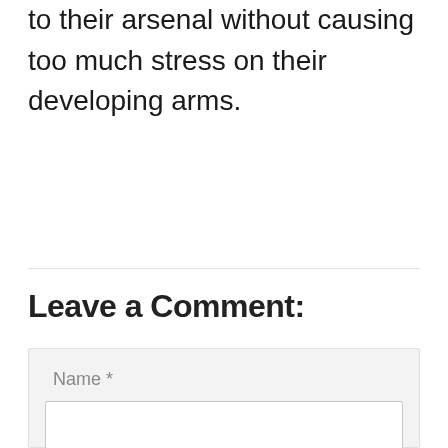to their arsenal without causing too much stress on their developing arms.
Leave a Comment:
Name *
E-Mail *